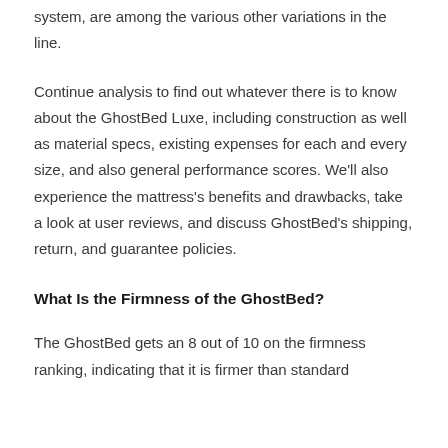system, are among the various other variations in the line.
Continue analysis to find out whatever there is to know about the GhostBed Luxe, including construction as well as material specs, existing expenses for each and every size, and also general performance scores. We'll also experience the mattress's benefits and drawbacks, take a look at user reviews, and discuss GhostBed's shipping, return, and guarantee policies.
What Is the Firmness of the GhostBed?
The GhostBed gets an 8 out of 10 on the firmness ranking, indicating that it is firmer than standard